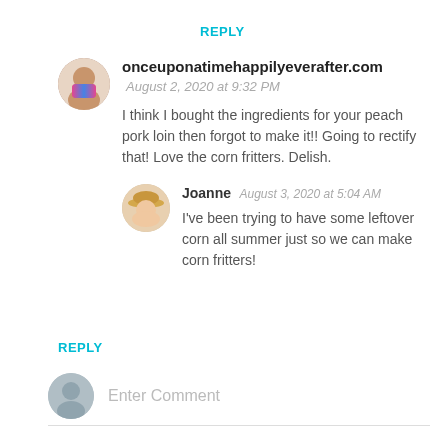REPLY
onceuponatimehappilyeverafter.com
August 2, 2020 at 9:32 PM

I think I bought the ingredients for your peach pork loin then forgot to make it!! Going to rectify that! Love the corn fritters. Delish.
Joanne  August 3, 2020 at 5:04 AM

I've been trying to have some leftover corn all summer just so we can make corn fritters!
REPLY
Enter Comment